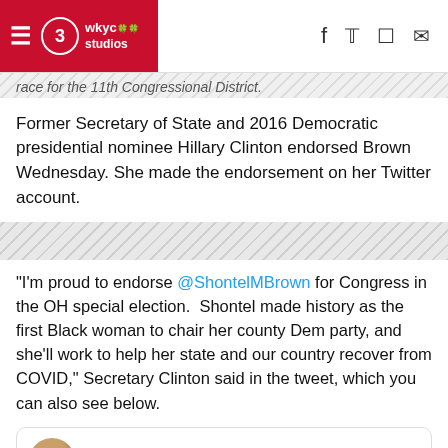WKYC Studios
race for the 11th Congressional District.
Former Secretary of State and 2016 Democratic presidential nominee Hillary Clinton endorsed Brown Wednesday. She made the endorsement on her Twitter account.
"I'm proud to endorse @ShontelMBrown for Congress in the OH special election.  Shontel made history as the first Black woman to chair her county Dem party, and she'll work to help her state and our country recover from COVID," Secretary Clinton said in the tweet, which you can also see below.
[Figure (screenshot): Tweet card showing Hillary Clinton's name with blue verified checkmark and Twitter bird icon]